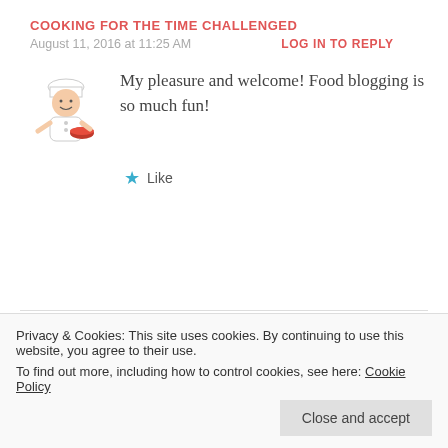COOKING FOR THE TIME CHALLENGED
August 11, 2016 at 11:25 AM
LOG IN TO REPLY
[Figure (illustration): Cartoon chef holding a bowl]
My pleasure and welcome! Food blogging is so much fun!
Like
KOOLKOSHERKITCHEN
August 8, 2016 at 4:08 PM
LOG IN TO REPLY
[Figure (photo): Circular avatar photo of a woman]
Dear Carol, I have nominated you for the Sunshine Blogger Award. I love your blog, and I
/08/08/sunshine-blogger-award-2/
Privacy & Cookies: This site uses cookies. By continuing to use this website, you agree to their use.
To find out more, including how to control cookies, see here: Cookie Policy
Close and accept